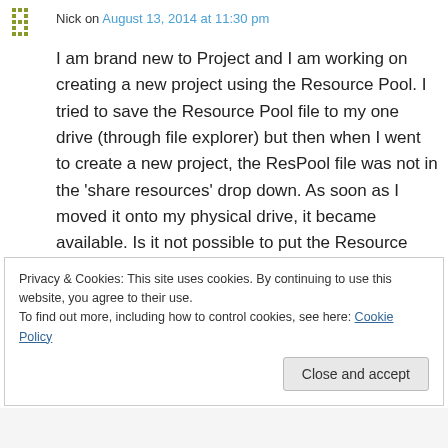Nick on August 13, 2014 at 11:30 pm
I am brand new to Project and I am working on creating a new project using the Resource Pool. I tried to save the Resource Pool file to my one drive (through file explorer) but then when I went to create a new project, the ResPool file was not in the 'share resources' drop down. As soon as I moved it onto my physical drive, it became available. Is it not possible to put the Resource Pool file on the One Drive?
Privacy & Cookies: This site uses cookies. By continuing to use this website, you agree to their use.
To find out more, including how to control cookies, see here: Cookie Policy
Close and accept